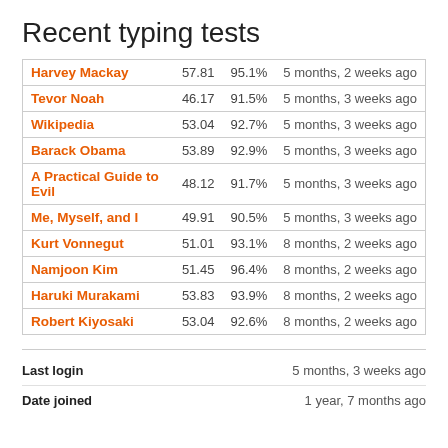Recent typing tests
| Name | WPM | Accuracy | When |
| --- | --- | --- | --- |
| Harvey Mackay | 57.81 | 95.1% | 5 months, 2 weeks ago |
| Tevor Noah | 46.17 | 91.5% | 5 months, 3 weeks ago |
| Wikipedia | 53.04 | 92.7% | 5 months, 3 weeks ago |
| Barack Obama | 53.89 | 92.9% | 5 months, 3 weeks ago |
| A Practical Guide to Evil | 48.12 | 91.7% | 5 months, 3 weeks ago |
| Me, Myself, and I | 49.91 | 90.5% | 5 months, 3 weeks ago |
| Kurt Vonnegut | 51.01 | 93.1% | 8 months, 2 weeks ago |
| Namjoon Kim | 51.45 | 96.4% | 8 months, 2 weeks ago |
| Haruki Murakami | 53.83 | 93.9% | 8 months, 2 weeks ago |
| Robert Kiyosaki | 53.04 | 92.6% | 8 months, 2 weeks ago |
Last login: 5 months, 3 weeks ago
Date joined: 1 year, 7 months ago